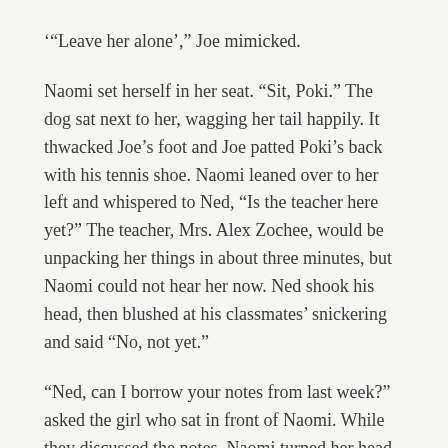‘“Leave her alone’,” Joe mimicked.
Naomi set herself in her seat. “Sit, Poki.” The dog sat next to her, wagging her tail happily. It thwacked Joe’s foot and Joe patted Poki’s back with his tennis shoe. Naomi leaned over to her left and whispered to Ned, “Is the teacher here yet?” The teacher, Mrs. Alex Zochee, would be unpacking her things in about three minutes, but Naomi could not hear her now. Ned shook his head, then blushed at his classmates’ snickering and said “No, not yet.”
“Ned, can I borrow your notes from last week?” asked the girl who sat in front of Naomi. While they discussed the notes, Naomi turned her head to the empty desk on her right. For almost a year, the seat to the right of Naomi Littleton had always been occupied by Helen